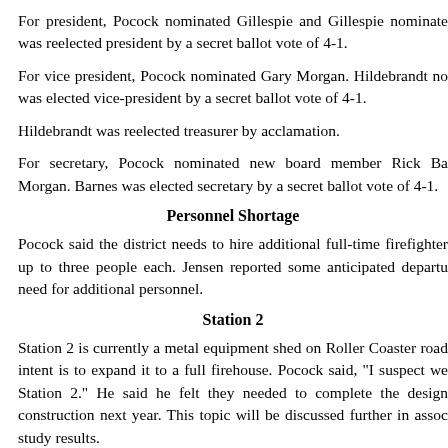For president, Pocock nominated Gillespie and Gillespie nominated was reelected president by a secret ballot vote of 4-1.
For vice president, Pocock nominated Gary Morgan. Hildebrandt no was elected vice-president by a secret ballot vote of 4-1.
Hildebrandt was reelected treasurer by acclamation.
For secretary, Pocock nominated new board member Rick Ba Morgan. Barnes was elected secretary by a secret ballot vote of 4-1.
Personnel Shortage
Pocock said the district needs to hire additional full-time firefighter up to three people each. Jensen reported some anticipated departu need for additional personnel.
Station 2
Station 2 is currently a metal equipment shed on Roller Coaster road intent is to expand it to a full firehouse. Pocock said, "I suspect we Station 2." He said he felt they needed to complete the design construction next year. This topic will be discussed further in assoc study results.
25th Anniversary Celebration and Memorial G